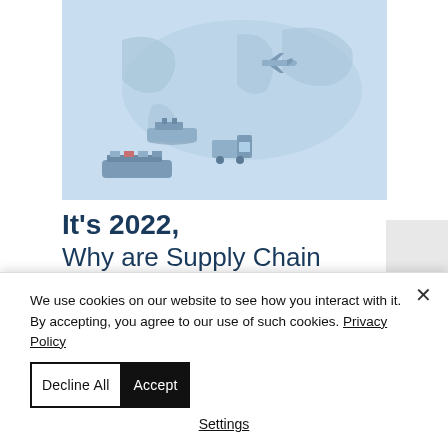[Figure (illustration): Supply chain illustration on light blue background showing ships, trucks, planes and a world map]
It's 2022, Why are Supply Chain Issues so Complicated and Costly?
We use cookies on our website to see how you interact with it. By accepting, you agree to our use of such cookies. Privacy Policy
Decline All
Accept
Settings